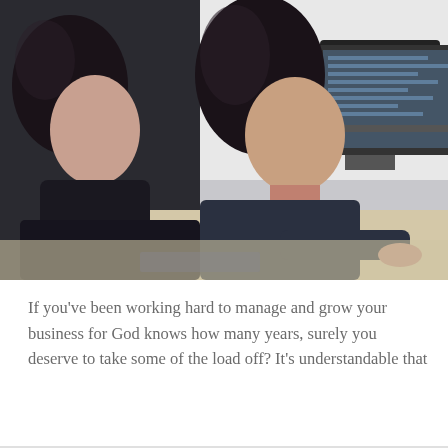[Figure (photo): Office scene showing two women working at computers. The woman in the foreground wears a dark top and is typing on a keyboard, looking at multiple monitors. A second woman sits behind her also at a desk with computers. In the background are more office workers and computer equipment including a desk phone and a black mug.]
If you've been working hard to manage and grow your business for God knows how many years, surely you deserve to take some of the load off? It's understandable that